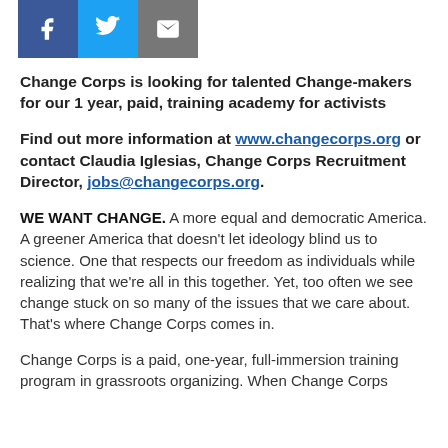[Figure (other): Social sharing buttons: Facebook (blue), Twitter (light blue), Email (gray)]
Change Corps is looking for talented Change-makers for our 1 year, paid, training academy for activists
Find out more information at www.changecorps.org or contact Claudia Iglesias, Change Corps Recruitment Director, jobs@changecorps.org.
WE WANT CHANGE. A more equal and democratic America. A greener America that doesn't let ideology blind us to science. One that respects our freedom as individuals while realizing that we're all in this together. Yet, too often we see change stuck on so many of the issues that we care about. That's where Change Corps comes in.
Change Corps is a paid, one-year, full-immersion training program in grassroots organizing. When Change Corps